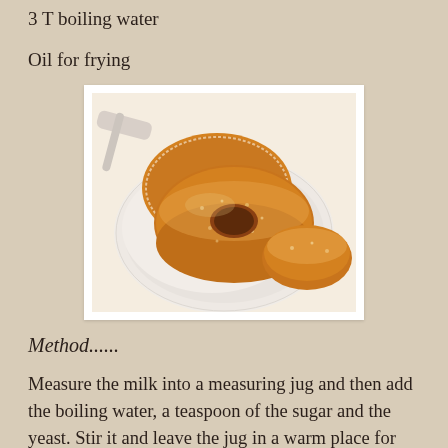3 T boiling water
Oil for frying
[Figure (photo): Sugar-coated donuts on a white plate, viewed from above at a slight angle]
Method......
Measure the milk into a measuring jug and then add the boiling water, a teaspoon of the sugar and the yeast. Stir it and leave the jug in a warm place for